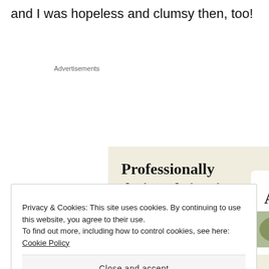and I was hopeless and clumsy then, too!
Advertisements
[Figure (illustration): Advertisement banner with beige/cream background showing text 'Professionally designed sites in less than a week' with a green 'Explore options' button and website design mockup images on the right side.]
Privacy & Cookies: This site uses cookies. By continuing to use this website, you agree to their use.
To find out more, including how to control cookies, see here: Cookie Policy
Close and accept
Advertisements